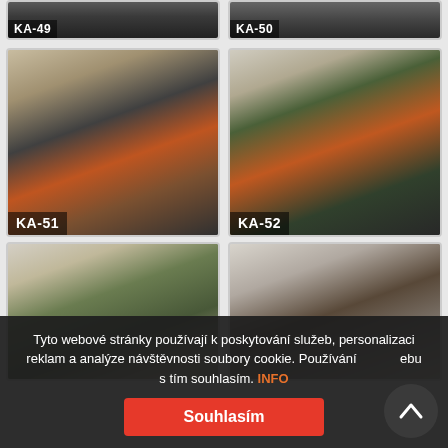[Figure (photo): Partial top row showing fireplace product images labeled KA-49 and KA-50]
[Figure (photo): Fireplace insert in white tile surround with wood mantle, labeled KA-51]
[Figure (photo): Fireplace insert in white surround with green tiled mantel and decorative plant, labeled KA-52]
[Figure (photo): Room scene with bamboo plant artwork, labeled KA-53]
[Figure (photo): Room scene with antlers on wall and dark wood chest of drawers, labeled KA-54]
Tyto webové stránky používají k poskytování služeb, personalizaci reklam a analýze návštěvnosti soubory cookie. Používání ... s tím souhlasím. INFO
Souhlasím